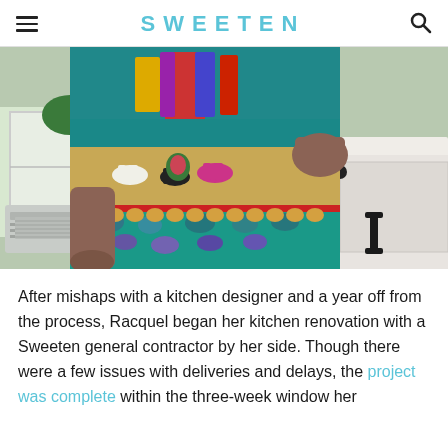SWEETEN
[Figure (photo): Person wearing a colorful patterned dress with horses and floral motifs, standing next to a white kitchen counter with black cabinet hardware]
After mishaps with a kitchen designer and a year off from the process, Racquel began her kitchen renovation with a Sweeten general contractor by her side. Though there were a few issues with deliveries and delays, the project was complete within the three-week window her